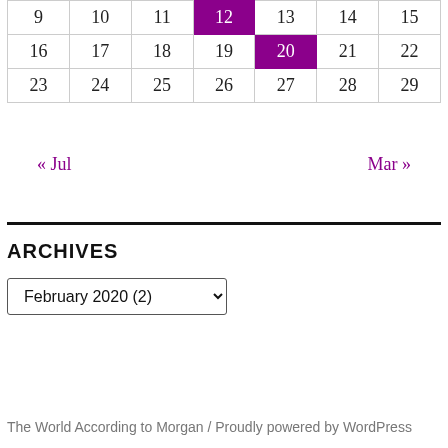| 9 | 10 | 11 | 12 | 13 | 14 | 15 |
| 16 | 17 | 18 | 19 | 20 | 21 | 22 |
| 23 | 24 | 25 | 26 | 27 | 28 | 29 |
« Jul    Mar »
ARCHIVES
February 2020  (2)
The World According to Morgan  /  Proudly powered by WordPress